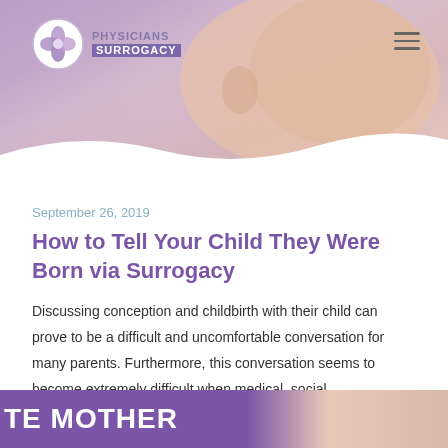[Figure (photo): Close-up photo of a newborn baby's head, with soft warm tones. Physicians Surrogacy logo in top left and hamburger menu in top right.]
PHYSICIANS SURROGACY
September 26, 2019
How to Tell Your Child They Were Born via Surrogacy
Discussing conception and childbirth with their child can prove to be a difficult and uncomfortable conversation for many parents. Furthermore, this conversation seems to become extremely difficult when medical, social,...
Read more
[Figure (photo): Bottom banner showing text 'TE MOTHER' in white on purple background with a partial photo of hands/baby on the right side.]